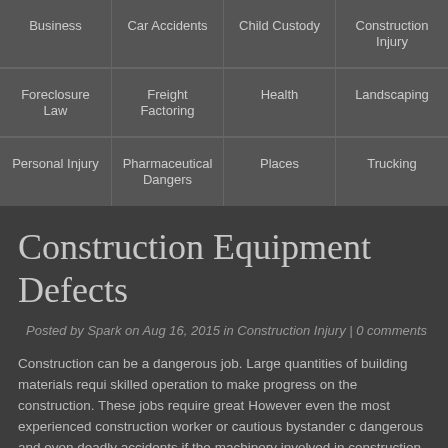Business | Car Accidents | Child Custody | Construction Injury | Foreclosure Law | Freight Factoring | Health | Landscaping | Personal Injury | Pharmaceutical Dangers | Places | Trucking
Construction Equipment Defects
Posted by Spark on Aug 16, 2015 in Construction Injury | 0 comments
Construction can be a dangerous job. Large quantities of building materials requi... skilled operation to make progress on the construction. These jobs require great... However even the most experienced construction worker or cautious bystander c... dangerous and even deadly accidents if the machinery involved in construction is... These situations are impossible to foresee if they do occur and can effect everyo... site- innocent bystanders as well as construction workers. It is important, therefo... dangers and to acknowledge the possibility of this potential danger.
An Oklahoma personal injury lawyer may point out that common consequence...